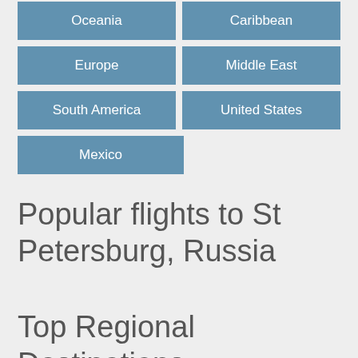| Oceania | Caribbean |
| Europe | Middle East |
| South America | United States |
| Mexico |  |
Popular flights to St Petersburg, Russia
Top Regional Destinations